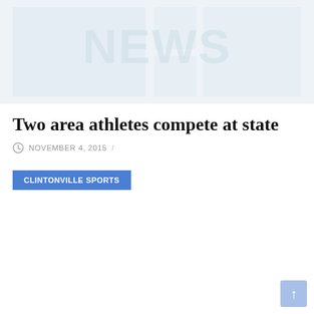[Figure (photo): Hero/banner image area with faint watermark text, light blue-gray background suggesting a placeholder or faded sports photo]
Two area athletes compete at state
NOVEMBER 4, 2015 /
CLINTONVILLE SPORTS